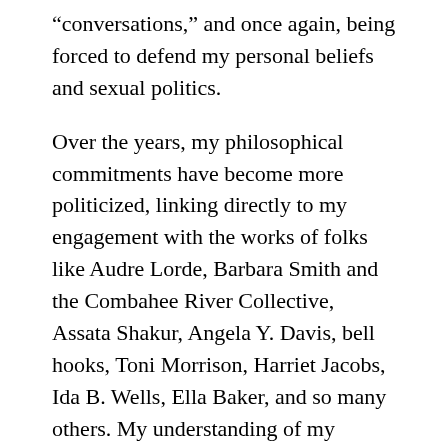“conversations,” and once again, being forced to defend my personal beliefs and sexual politics.
Over the years, my philosophical commitments have become more politicized, linking directly to my engagement with the works of folks like Audre Lorde, Barbara Smith and the Combahee River Collective, Assata Shakur, Angela Y. Davis, bell hooks, Toni Morrison, Harriet Jacobs, Ida B. Wells, Ella Baker, and so many others. My understanding of my family has also changed. And in 2015, I came out as queer.
We are a queer family for many reasons. We are queer because I am a queer woman. We are queer because we are semi-monogamous—a fact that still confounds my mother. We are queer because we don’t subscribe to traditional gender roles and are